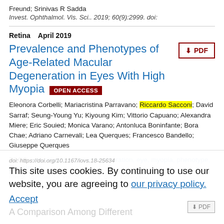Freund; Srinivas R Sadda
Invest. Ophthalmol. Vis. Sci.. 2019; 60(9):2999. doi:
Retina   April 2019
Prevalence and Phenotypes of Age-Related Macular Degeneration in Eyes With High Myopia  OPEN ACCESS
Eleonora Corbelli; Mariacristina Parravano; Riccardo Sacconi; David Sarraf; Seung-Young Yu; Kiyoung Kim; Vittorio Capuano; Alexandra Miere; Eric Souied; Monica Varano; Antonluca Boninfante; Bora Chae; Adriano Carnevali; Lea Querques; Francesco Bandello; Giuseppe Querques
TAGS: age-related macular degeneration, eye, myopia, phenotype, prevalence
Invest. Ophthalmol. Vis. Sci.. 2019; 60(5):1394-1402
This site uses cookies. By continuing to use our website, you are agreeing to our privacy policy. Accept